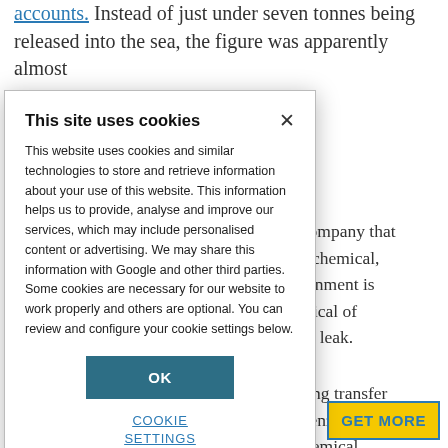accounts. Instead of just under seven tonnes being released into the sea, the figure was apparently almost
[Figure (screenshot): Cookie consent modal dialog with title 'This site uses cookies', body text about cookie usage, an OK button, and a COOKIE SETTINGS link]
the company that Petrochemical, government is chemical of of the leak.
r, during transfer ises benzene o a chemical y of Quanzhou. A cause was a fault
[Figure (screenshot): GET MORE button with yellow background and blue border]